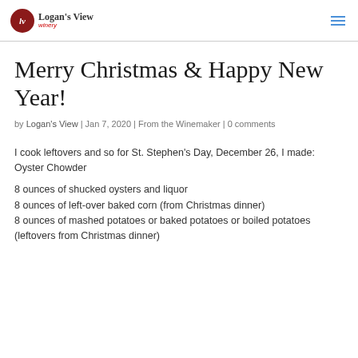[Figure (logo): Logan's View Winery logo with red circle containing 'lv' monogram and text 'Logan's View winery']
Merry Christmas & Happy New Year!
by Logan's View | Jan 7, 2020 | From the Winemaker | 0 comments
I cook leftovers and so for St. Stephen's Day, December 26, I made: Oyster Chowder
8 ounces of shucked oysters and liquor
8 ounces of left-over baked corn (from Christmas dinner)
8 ounces of mashed potatoes or baked potatoes or boiled potatoes (leftovers from Christmas dinner)